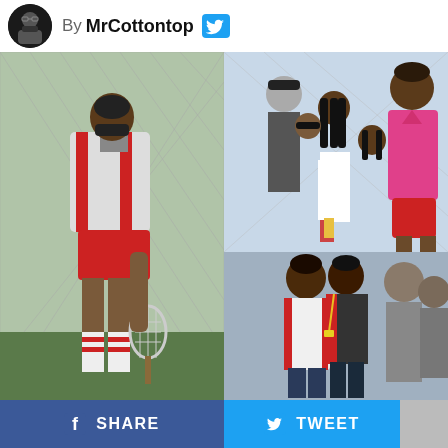By MrCottontop
[Figure (photo): Collage of three photos showing actors on a tennis court set. Left: man in white and red striped athletic jacket and red shorts holding a tennis racket, wearing white socks with red stripes, with chain-link fence in background. Top right: group of people including a man in a pink polo shirt with red shorts standing with children in tennis outfits, chain-link fence in background. Bottom right: two men walking, one in a white and red striped jacket similar to the left photo, with other people in background.]
SHARE   TWEET